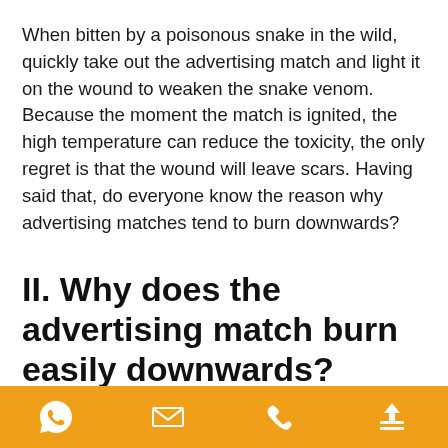When bitten by a poisonous snake in the wild, quickly take out the advertising match and light it on the wound to weaken the snake venom. Because the moment the match is ignited, the high temperature can reduce the toxicity, the only regret is that the wound will leave scars. Having said that, do everyone know the reason why advertising matches tend to burn downwards?
II. Why does the advertising match burn easily downwards?
1. Because the head of the match is downward, the flame
[icons: WhatsApp, Email, Phone, Upload]